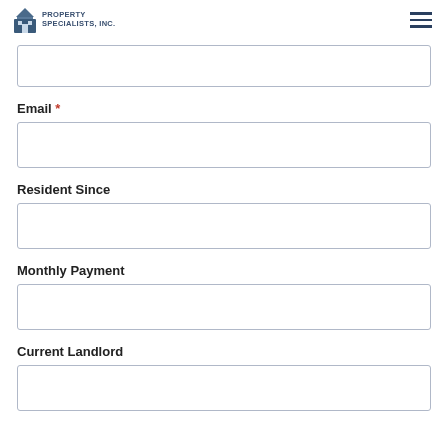[Figure (logo): Property Specialists, Inc. logo with building icon and hamburger menu icon]
(partial input field at top, cut off)
Email *
Resident Since
Monthly Payment
Current Landlord